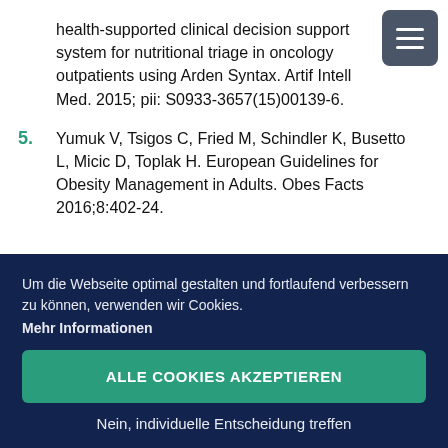health-supported clinical decision support system for nutritional triage in oncology outpatients using Arden Syntax. Artif Intell Med. 2015; pii: S0933-3657(15)00139-6.
5. Yumuk V, Tsigos C, Fried M, Schindler K, Busetto L, Micic D, Toplak H. European Guidelines for Obesity Management in Adults. Obes Facts 2016;8:402-24.
Um die Webseite optimal gestalten und fortlaufend verbessern zu können, verwenden wir Cookies. Mehr Informationen
ALLE COOKIES AKZEPTIEREN
Nein, individuelle Entscheidung treffen